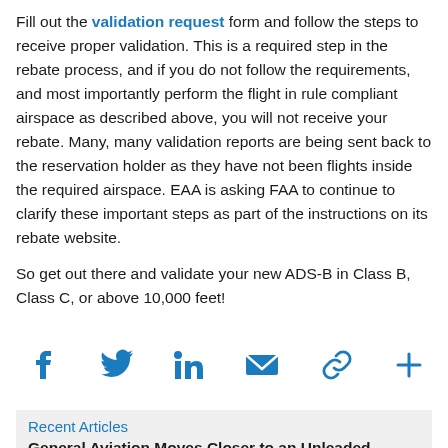Fill out the validation request form and follow the steps to receive proper validation. This is a required step in the rebate process, and if you do not follow the requirements, and most importantly perform the flight in rule compliant airspace as described above, you will not receive your rebate. Many, many validation reports are being sent back to the reservation holder as they have not been flights inside the required airspace. EAA is asking FAA to continue to clarify these important steps as part of the instructions on its rebate website.

So get out there and validate your new ADS-B in Class B, Class C, or above 10,000 feet!
[Figure (infographic): Social sharing icons: Facebook, Twitter, LinkedIn, Email/Envelope, Link/Chain, Plus sign — all in blue]
Recent Articles
General Aviation Moves Closer to an Unleaded